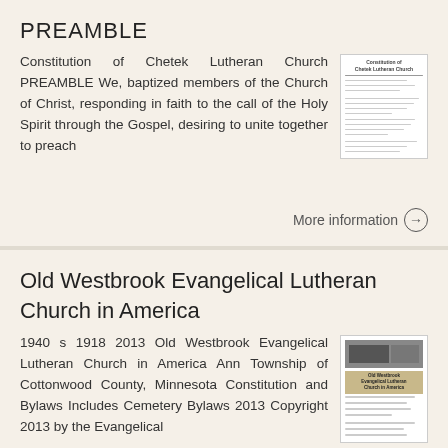PREAMBLE
Constitution of Chetek Lutheran Church PREAMBLE We, baptized members of the Church of Christ, responding in faith to the call of the Holy Spirit through the Gospel, desiring to unite together to preach
[Figure (other): Thumbnail image of Constitution of Chetek Lutheran Church document cover page]
More information →
Old Westbrook Evangelical Lutheran Church in America
1940 s 1918 2013 Old Westbrook Evangelical Lutheran Church in America Ann Township of Cottonwood County, Minnesota Constitution and Bylaws Includes Cemetery Bylaws 2013 Copyright 2013 by the Evangelical
[Figure (other): Thumbnail image of Old Westbrook Evangelical Lutheran Church in America document cover page]
More information →